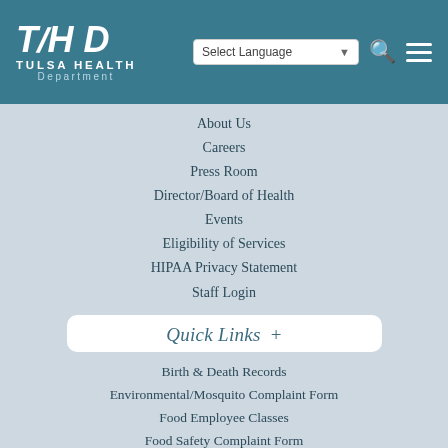[Figure (logo): Tulsa Health Department logo - THD letters with TULSA HEALTH Department text in white on teal background]
Tulsa Health Department — navigation header with Select Language dropdown, search icon, and hamburger menu
About Us
Careers
Press Room
Director/Board of Health
Events
Eligibility of Services
HIPAA Privacy Statement
Staff Login
Quick Links  +
Birth & Death Records
Environmental/Mosquito Complaint Form
Food Employee Classes
Food Safety Complaint Form
Locations
North Tulsa Health Services
Permits and Inspections
Testing and Immunizations